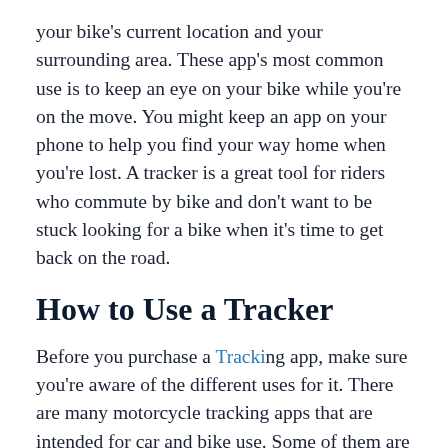your bike's current location and your surrounding area. These app's most common use is to keep an eye on your bike while you're on the move. You might keep an app on your phone to help you find your way home when you're lost. A tracker is a great tool for riders who commute by bike and don't want to be stuck looking for a bike when it's time to get back on the road.
How to Use a Tracker
Before you purchase a Tracking app, make sure you're aware of the different uses for it. There are many motorcycle tracking apps that are intended for car and bike use. Some of them are only meant to track your bike while you're on the road. Others can track your bike while you're off the road, using GPS. To get the most out of your tracker, it's important to understand how it works and how to